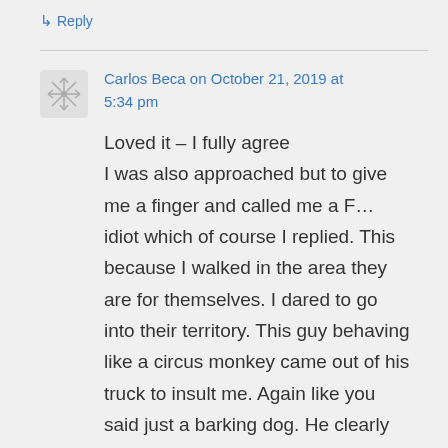↳ Reply
Carlos Beca on October 21, 2019 at 5:34 pm
Loved it – I fully agree I was also approached but to give me a finger and called me a F… idiot which of course I replied. This because I walked in the area they are for themselves. I dared to go into their territory. This guy behaving like a circus monkey came out of his truck to insult me. Again like you said just a barking dog. He clearly noticed that to challenge me deeper